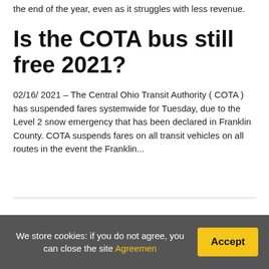the end of the year, even as it struggles with less revenue.
Is the COTA bus still free 2021?
02/16/ 2021 – The Central Ohio Transit Authority ( COTA ) has suspended fares systemwide for Tuesday, due to the Level 2 snow emergency that has been declared in Franklin County. COTA suspends fares on all transit vehicles on all routes in the event the Franklin...
Previous
Next
We store cookies: if you do not agree, you can close the site Agreemen
Accept